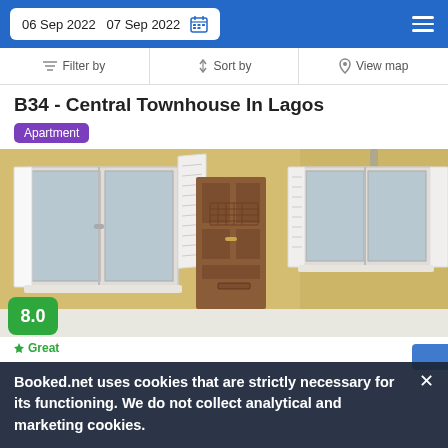06 Sep 2022  07 Sep 2022
Filter by  Sort by  View map
B34 - Central Townhouse In Lagos
Apartment
[Figure (photo): Exterior of a yellow building with white-shuttered windows and a brown wooden door, score badge showing 8.0]
Great
Booked.net uses cookies that are strictly necessary for its functioning. We do not collect analytical and marketing cookies.
200 yd from City Center